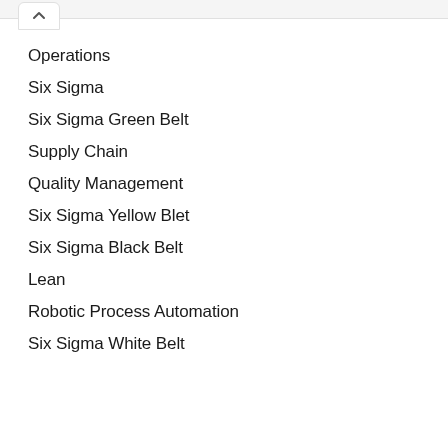Operations
Six Sigma
Six Sigma Green Belt
Supply Chain
Quality Management
Six Sigma Yellow Blet
Six Sigma Black Belt
Lean
Robotic Process Automation
Six Sigma White Belt